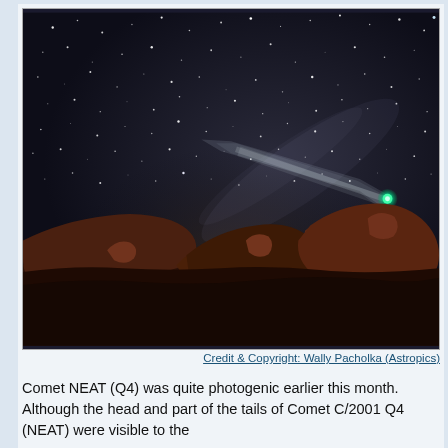[Figure (photo): Night sky photograph showing Comet NEAT (C/2001 Q4) with a bright green coma and long tail visible against a star-filled sky, with dark red rocky boulders in the foreground silhouetted along the bottom of the image.]
Credit & Copyright: Wally Pacholka (Astropics)
Comet NEAT (Q4) was quite photogenic earlier this month. Although the head and part of the tails of Comet C/2001 Q4 (NEAT) were visible to the